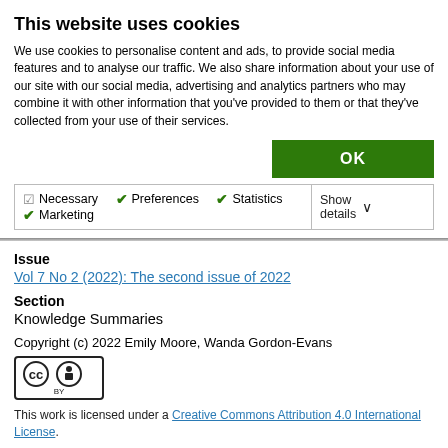This website uses cookies
We use cookies to personalise content and ads, to provide social media features and to analyse our traffic. We also share information about your use of our site with our social media, advertising and analytics partners who may combine it with other information that you've provided to them or that they've collected from your use of their services.
| ☑ Necessary  ✔ Preferences  ✔ Statistics  ✔ Marketing | Show details ∨ |
Issue
Vol 7 No 2 (2022): The second issue of 2022
Section
Knowledge Summaries
Copyright (c) 2022 Emily Moore, Wanda Gordon-Evans
[Figure (logo): Creative Commons BY license badge]
This work is licensed under a Creative Commons Attribution 4.0 International License.